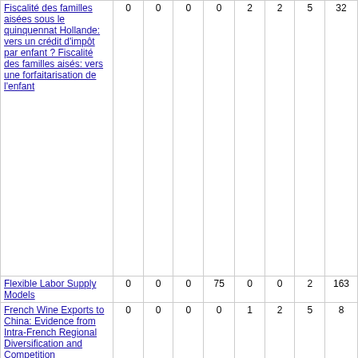|  |  |  |  |  |  |  |  |  |
| --- | --- | --- | --- | --- | --- | --- | --- | --- |
| Fiscalité des familles aisées sous le quinquennat Hollande: vers un crédit d'impôt par enfant ? Fiscalité des familles aisés: vers une forfaitarisation de l'enfant | 0 | 0 | 0 | 0 | 2 | 2 | 5 | 32 |
| Flexible Labor Supply Models | 0 | 0 | 0 | 75 | 0 | 0 | 2 | 163 |
| French Wine Exports to China: Evidence from Intra-French Regional Diversification and Competition | 0 | 0 | 0 | 0 | 1 | 2 | 5 | 8 |
| GINI DP 1: Distributional Consequences of Labor-Demand Adjustments to a Downturn. A Model-Based Approach with Application to Germany 2008-09 | 0 | 0 | 0 | 7 | 0 | 1 | 5 | 97 |
| Gender bias and the intrahousehold distribution of | 0 | 1 | 2 | 42 | 0 | 2 | 4 | 66 |